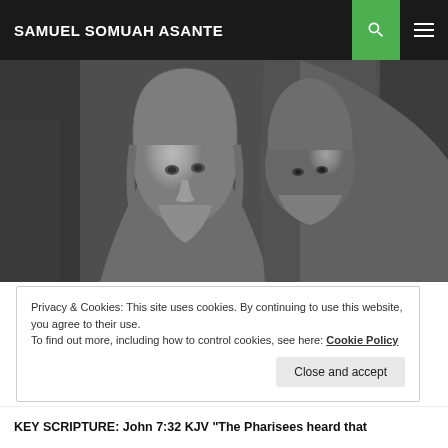SAMUEL SOMUAH ASANTE
[Figure (photo): Black and white engraving-style illustration showing Jesus Christ with a calm expression being approached by an older bearded man whispering into his ear, possibly depicting a biblical scene.]
Privacy & Cookies: This site uses cookies. By continuing to use this website, you agree to their use.
To find out more, including how to control cookies, see here: Cookie Policy
Close and accept
KEY SCRIPTURE: John 7:32 KJV "The Pharisees heard that